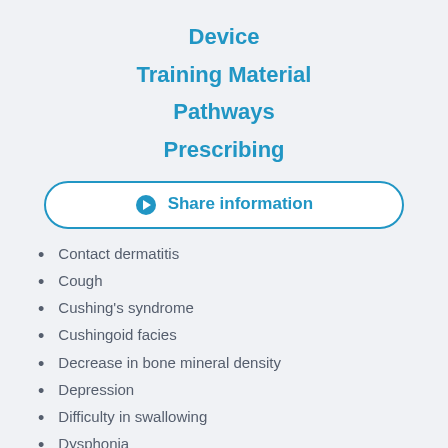Device
Training Material
Pathways
Prescribing
➔ Share information
Contact dermatitis
Cough
Cushing's syndrome
Cushingoid facies
Decrease in bone mineral density
Depression
Difficulty in swallowing
Dysphonia